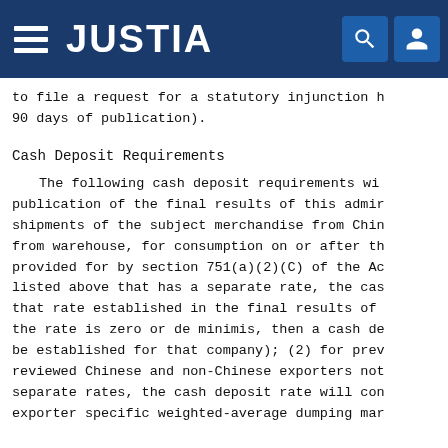JUSTIA
to file a request for a statutory injunction h 90 days of publication).
Cash Deposit Requirements
The following cash deposit requirements wi publication of the final results of this admir shipments of the subject merchandise from Chin from warehouse, for consumption on or after th provided for by section 751(a)(2)(C) of the Ac listed above that has a separate rate, the cas that rate established in the final results of the rate is zero or de minimis, then a cash de be established for that company); (2) for prev reviewed Chinese and non-Chinese exporters not separate rates, the cash deposit rate will con exporter specific weighted-average dumping mar